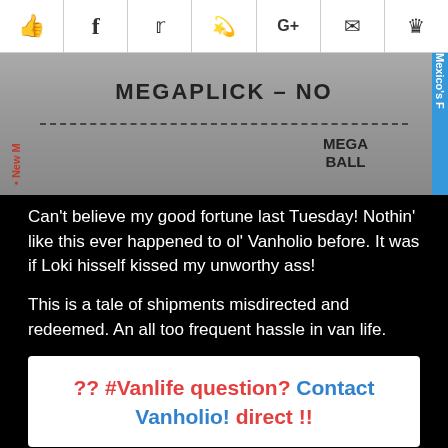[Figure (other): Social share bar with icons: thumbs up, Facebook, Twitter, Reddit, Google+, email/envelope, crown/bookmark]
[Figure (photo): Lottery ticket photo showing 'MEGAPLICK - NO' text at top, a dashed horizontal line, 'MEGA BALL' label at bottom right, red side text 'New M' on left, partial 'Mexico's F' in red on right with blue strip at far right edge]
Can't believe my good fortune last Tuesday! Nothin' like this ever happened to ol' Vanholio before. It was if Loki hisself kissed my unworthy ass!
This is a tale of shipments misdirected and redeemed. An all too frequent hassle in van life.
?? #Vanlife question? Contact Vanholio! direct !!
Vanholio's been tryin' out Soylent again. Generally, they deliver via FedEx Ground, which presents some challenges to a nomadic vandweller. What I tried to do was have it sent to me % the FedEx Ship Center in Las Cruces, N.M., where